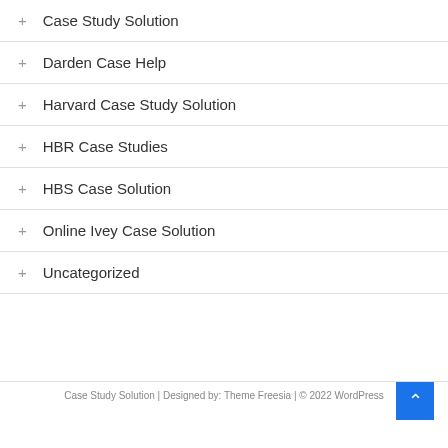Case Study Solution
Darden Case Help
Harvard Case Study Solution
HBR Case Studies
HBS Case Solution
Online Ivey Case Solution
Uncategorized
Case Study Solution | Designed by: Theme Freesia | © 2022 WordPress